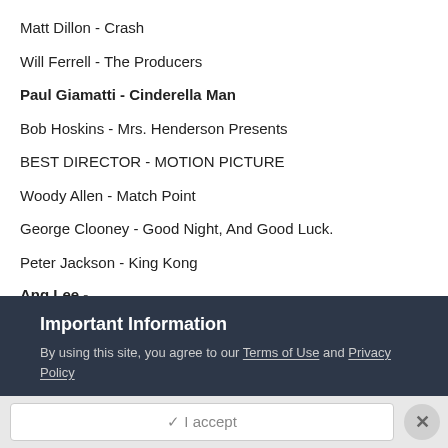Matt Dillon - Crash
Will Ferrell - The Producers
Paul Giamatti - Cinderella Man
Bob Hoskins - Mrs. Henderson Presents
BEST DIRECTOR - MOTION PICTURE
Woody Allen - Match Point
George Clooney - Good Night, And Good Luck.
Peter Jackson - King Kong
Ang Lee - Brokeback Mountain
Important Information
By using this site, you agree to our Terms of Use and Privacy Policy
✓ I accept